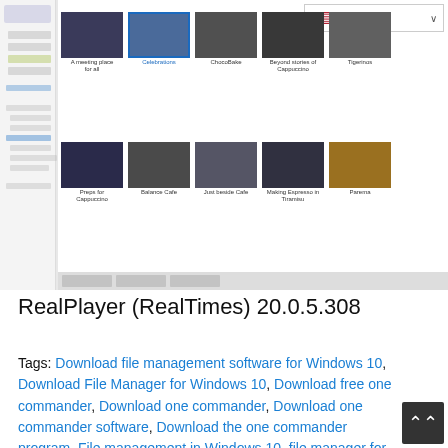[Figure (screenshot): Screenshot of a media player application (RealPlayer/RealTimes) showing a video library with thumbnail grid. Two rows of video thumbnails are visible with an English language dropdown in the top right corner. A sidebar menu is visible on the left.]
RealPlayer (RealTimes) 20.0.5.308
Tags: Download file management software for Windows 10,  Download File Manager for Windows 10,  Download free one commander,  Download one commander,  Download one commander software,  Download the one commander program,  File management in Windows 10,  file manager for windows 10,  file manager windows 10 free download,  Free one commander app,  Free